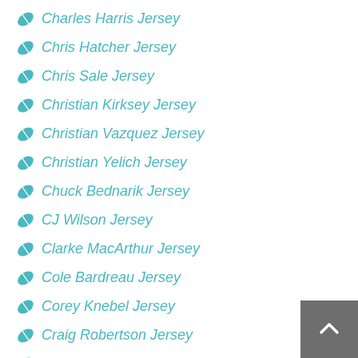Charles Harris Jersey
Chris Hatcher Jersey
Chris Sale Jersey
Christian Kirksey Jersey
Christian Vazquez Jersey
Christian Yelich Jersey
Chuck Bednarik Jersey
CJ Wilson Jersey
Clarke MacArthur Jersey
Cole Bardreau Jersey
Corey Knebel Jersey
Craig Robertson Jersey
Dale Murphy Jersey
Dan Hamhuis Jersey
Dan Marino Jersey